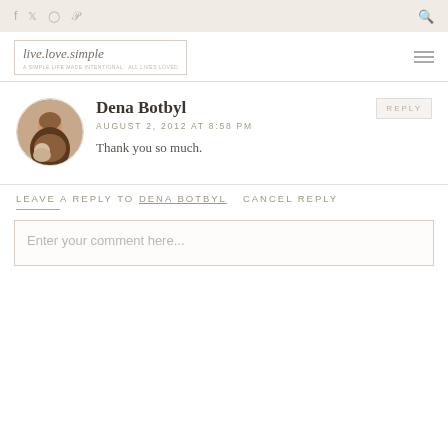f  twitter  instagram  pinterest  [search]
[Figure (logo): live.love.simple blog logo with tagline, inside a bordered box]
Dena Botbyl
AUGUST 2, 2012 AT 8:58 PM
Thank you so much.
LEAVE A REPLY TO DENA BOTBYL   CANCEL REPLY
Enter your comment here...